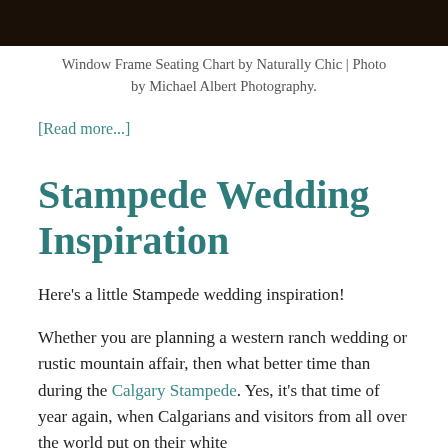[Figure (photo): Dark photo strip at top of page, appears to be a wedding-related image, mostly dark/black tones]
Window Frame Seating Chart by Naturally Chic | Photo by Michael Albert Photography.
[Read more...]
Stampede Wedding Inspiration
Here's a little Stampede wedding inspiration!
Whether you are planning a western ranch wedding or rustic mountain affair, then what better time than during the Calgary Stampede. Yes, it's that time of year again, when Calgarians and visitors from all over the world put on their white